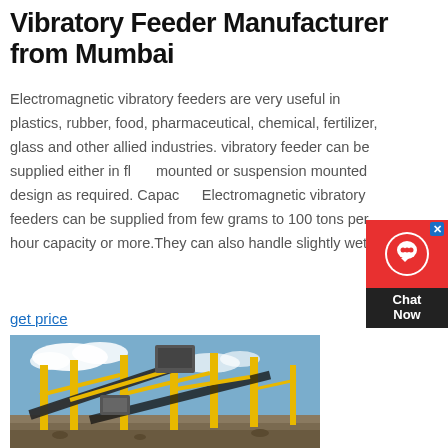Vibratory Feeder Manufacturer from Mumbai
Electromagnetic vibratory feeders are very useful in plastics, rubber, food, pharmaceutical, chemical, fertilizer, glass and other allied industries. vibratory feeder can be supplied either in floor mounted or suspension mounted design as required. Capacity: Electromagnetic vibratory feeders can be supplied from few grams to 100 tons per hour capacity or more.They can also handle slightly wet
get price
[Figure (photo): Industrial vibratory feeder / conveyor system with yellow steel frame structure on an outdoor construction/mining site with blue sky background]